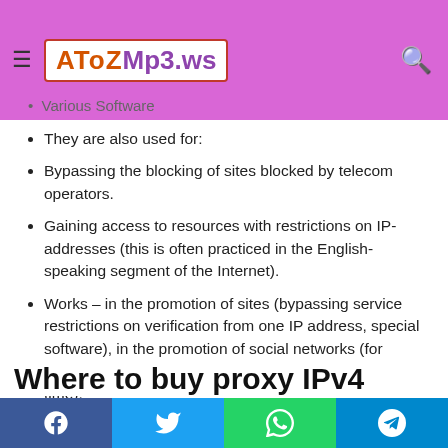AToZMp3.ws
Various Software
They are also used for:
Bypassing the blocking of sites blocked by telecom operators.
Gaining access to resources with restrictions on IP-addresses (this is often practiced in the English-speaking segment of the Internet).
Works – in the promotion of sites (bypassing service restrictions on verification from one IP address, special software), in the promotion of social networks (for example, to maintain several accounts at the same time).
Where to buy proxy IPv4